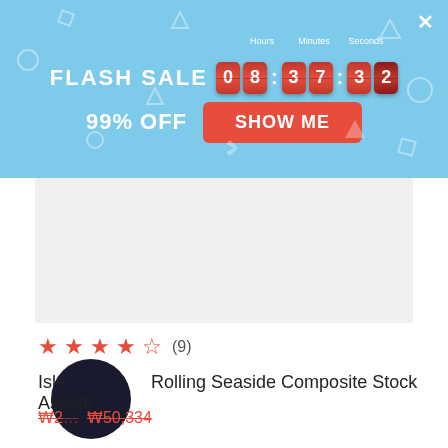[Figure (screenshot): Flash sale banner with countdown timer showing 08:37:32, 99% OFF text and SHOW ME button on light blue background with geometric shapes]
[Figure (photo): Product image placeholder, light gray rectangle]
★★★★½ (9)
[Figure (logo): Dark circular logo overlapping product title text]
Isle Rolling Seaside Composite Stock Assets
₩2[...] ₩50,334 (strikethrough prices)